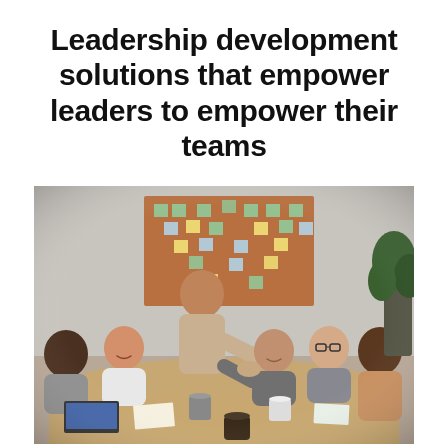Leadership development solutions that empower leaders to empower their teams
[Figure (photo): A group of five people sitting around a conference table in a meeting room. One person is standing and shaking hands across the table with another. A cork bulletin board with colorful sticky notes is mounted on the wall in the background. A laptop, mugs, and papers are on the table. A green plant is visible in the top right corner.]